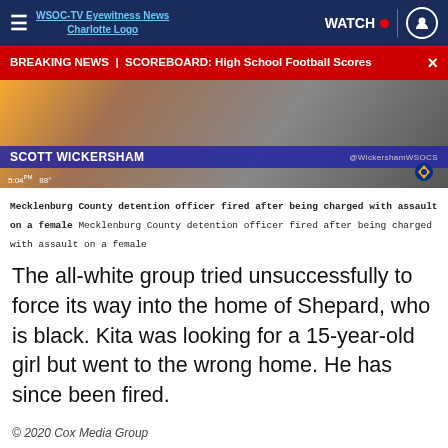WSOC-TV Eyewitness News Charlotte Logo | WATCH | user icon
BREAKING NEWS | SCOREBOARD: High School Football Scores
[Figure (screenshot): TV news screenshot showing anchor Scott Wickersham with chyron and WSOC-TV logo]
Mecklenburg County detention officer fired after being charged with assault on a female Mecklenburg County detention officer fired after being charged with assault on a female
The all-white group tried unsuccessfully to force its way into the home of Shepard, who is black. Kita was looking for a 15-year-old girl but went to the wrong home. He has since been fired.
© 2020 Cox Media Group